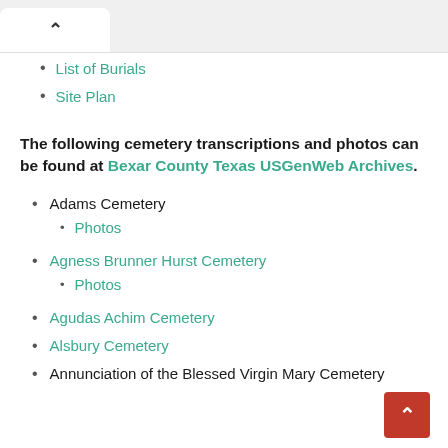List of Burials
Site Plan
The following cemetery transcriptions and photos can be found at Bexar County Texas USGenWeb Archives.
Adams Cemetery
Photos
Agness Brunner Hurst Cemetery
Photos
Agudas Achim Cemetery
Alsbury Cemetery
Annunciation of the Blessed Virgin Mary Cemetery